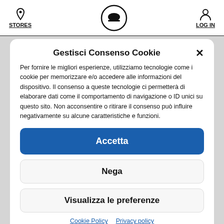STORES | [logo] | LOG IN
Gestisci Consenso Cookie
Per fornire le migliori esperienze, utilizziamo tecnologie come i cookie per memorizzare e/o accedere alle informazioni del dispositivo. Il consenso a queste tecnologie ci permetterà di elaborare dati come il comportamento di navigazione o ID unici su questo sito. Non acconsentire o ritirare il consenso può influire negativamente su alcune caratteristiche e funzioni.
Accetta
Nega
Visualizza le preferenze
Cookie Policy   Privacy policy